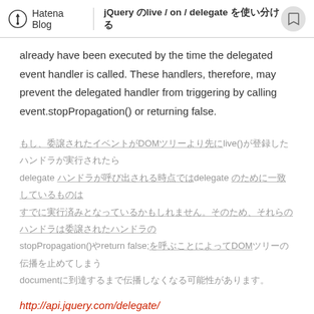Hatena Blog  jQuery の live / on / delegate を使い分ける
already have been executed by the time the delegated event handler is called. These handlers, therefore, may prevent the delegated handler from triggering by calling event.stopPropagation() or returning false.
（Japanese text about DOM, live(), delegate）stopPropagation()やreturn false;（Japanese text about DOM and document）
http://api.jquery.com/delegate/